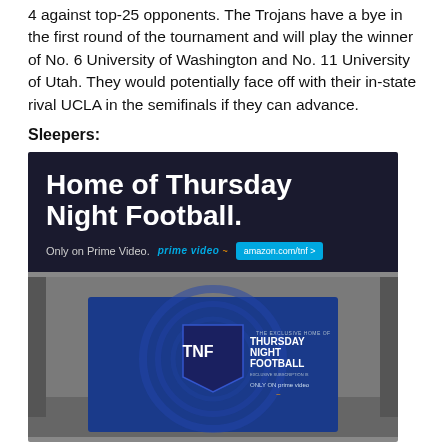4 against top-25 opponents. The Trojans have a bye in the first round of the tournament and will play the winner of No. 6 University of Washington and No. 11 University of Utah. They would potentially face off with their in-state rival UCLA in the semifinals if they can advance.
Sleepers:
[Figure (photo): Amazon Prime Video advertisement for Thursday Night Football showing a TV screen with the TNF logo in a warehouse setting.]
Colorado Buffaloes